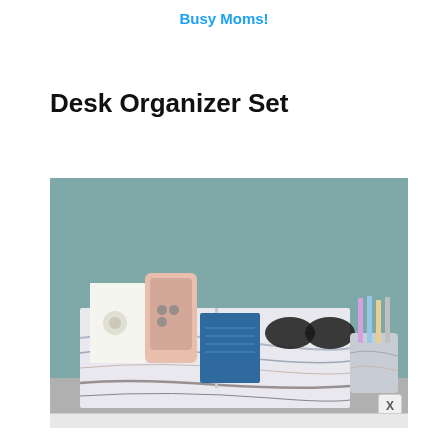Busy Moms!
Desk Organizer Set
[Figure (photo): A marble-patterned desk organizer set on a desk surface. The organizer contains a pink smartphone, a blue notebook/wallet, black sunglasses, and papers. To the right is a matching marble pen holder with colorful pencils. Background is a muted teal/grey wall.]